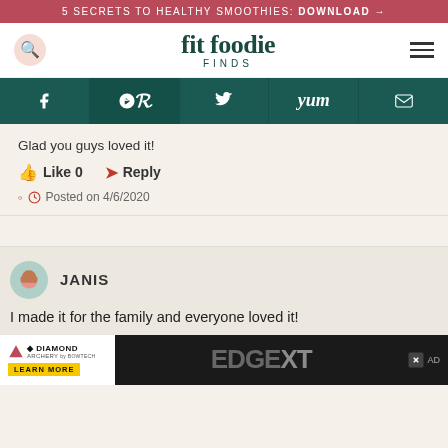5 SECRETS TO HEALTHY SMOOTHIES: DOWNLOAD →
fit foodie FINDS
Glad you guys loved it!
Like 0   Reply
Posted on 4/6/2020
JANIS
I made it for the family and everyone loved it!
[Figure (screenshot): Diamond Archery advertisement banner with EDGE XT text]